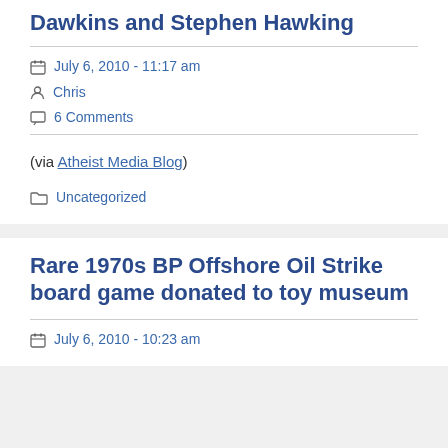Dawkins and Stephen Hawking
July 6, 2010 - 11:17 am
Chris
6 Comments
(via Atheist Media Blog)
Uncategorized
Rare 1970s BP Offshore Oil Strike board game donated to toy museum
July 6, 2010 - 10:23 am